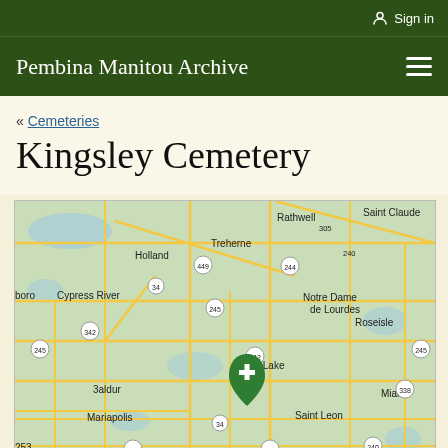Sign in
Pembina Manitou Archive
« Cemeteries
Kingsley Cemetery
[Figure (map): Google Maps view showing Kingsley Cemetery location (marked with green pin with cross) near Saint Leon, Manitoba, Canada. Surrounding towns include Treherne, Rathwell, Saint Claude, Holland, Notre Dame de Lourdes, Roseisle, Cypress River, Swan Lake, Mariapolis, Baldur, Miami, Glenora. Highway numbers visible: 34, 240, 244, 245, 242, 305, 338, 342, 449, 440.]